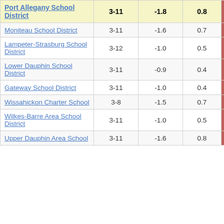| School District | Grades | Col3 | Col4 | Score |
| --- | --- | --- | --- | --- |
| Port Allegany School District | 3-11 | -1.8 | 0.8 | -2.33 |
| Moniteau School District | 3-11 | -1.6 | 0.7 | -2.24 |
| Lampeter-Strasburg School District | 3-12 | -1.0 | 0.5 | -2.24 |
| Lower Dauphin School District | 3-11 | -0.9 | 0.4 | -2.20 |
| Gateway School District | 3-11 | -1.0 | 0.4 | -2.20 |
| Wissahickon Charter School | 3-8 | -1.5 | 0.7 | -2.19 |
| Wilkes-Barre Area School District | 3-11 | -1.0 | 0.5 | -2.14 |
| Upper Dauphin Area School | 3-11 | -1.6 | 0.8 | -2.08 |